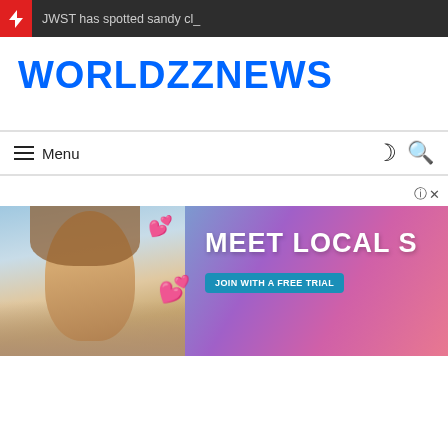JWST has spotted sandy cl_
WORLDZZNEWS
Menu
[Figure (photo): Advertisement banner showing a smiling woman in a bikini top against a cityscape background with pink hearts, text reading MEET LOCAL S and JOIN WITH A FREE TRIAL]
? X